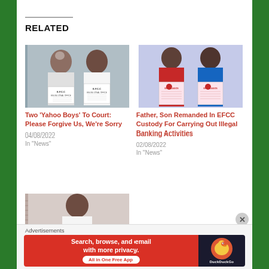RELATED
[Figure (photo): Mugshot photo of two men holding EFCC identification boards]
Two 'Yahoo Boys' To Court: Please Forgive Us, We're Sorry
04/08/2022
In "News"
[Figure (photo): Mugshot photo of two men holding EFCC Lagos identification boards]
Father, Son Remanded In EFCC Custody For Carrying Out Illegal Banking Activities
02/08/2022
In "News"
[Figure (photo): Mugshot photo of a man holding an EFCC identification board]
Advertisements
[Figure (screenshot): DuckDuckGo advertisement banner: Search, browse, and email with more privacy. All in One Free App]